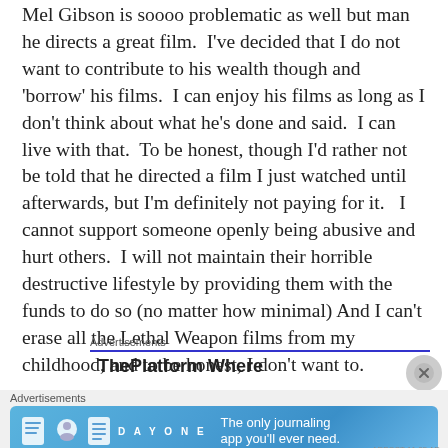Mel Gibson is soooo problematic as well but man he directs a great film. I've decided that I do not want to contribute to his wealth though and 'borrow' his films. I can enjoy his films as long as I don't think about what he's done and said. I can live with that. To be honest, though I'd rather not be told that he directed a film I just watched until afterwards, but I'm definitely not paying for it. I cannot support someone openly being abusive and hurt others. I will not maintain their horrible destructive lifestyle by providing them with the funds to do so (no matter how minimal) And I can't erase all the Lethal Weapon films from my childhood, and to be honest, I don't want to.
Advertisements
[Figure (other): ThePlatform Where advertisement banner (partially visible) with close button]
Advertisements
[Figure (other): Day One journaling app advertisement banner: 'The only journaling app you'll ever need.' with app icons]